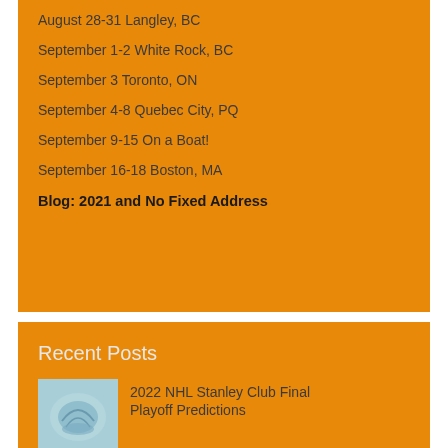August 28-31 Langley, BC
September 1-2 White Rock, BC
September 3 Toronto, ON
September 4-8 Quebec City, PQ
September 9-15 On a Boat!
September 16-18 Boston, MA
Blog: 2021 and No Fixed Address
Recent Posts
2022 NHL Stanley Club Final Playoff Predictions